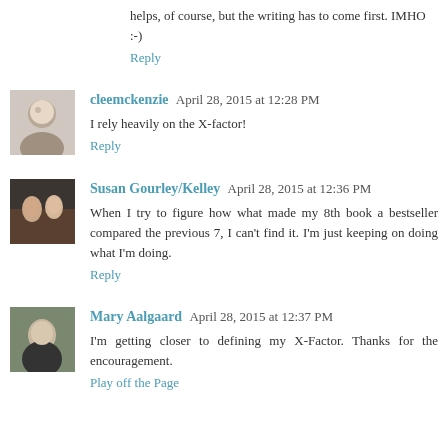helps, of course, but the writing has to come first. IMHO :-)
Reply
cleemckenzie  April 28, 2015 at 12:28 PM
I rely heavily on the X-factor!
Reply
Susan Gourley/Kelley  April 28, 2015 at 12:36 PM
When I try to figure how what made my 8th book a bestseller compared the previous 7, I can't find it. I'm just keeping on doing what I'm doing.
Reply
Mary Aalgaard  April 28, 2015 at 12:37 PM
I'm getting closer to defining my X-Factor. Thanks for the encouragement.
Play off the Page